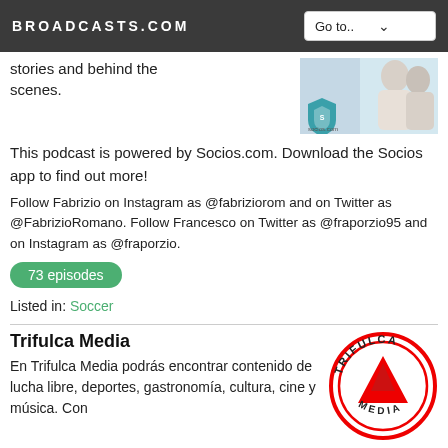BROADCASTS.COM  Go to..
stories and behind the scenes.
[Figure (photo): Socios.com advertisement image showing people with Socios logo]
This podcast is powered by Socios.com. Download the Socios app to find out more!
Follow Fabrizio on Instagram as @fabriziorom and on Twitter as @FabrizioRomano. Follow Francesco on Twitter as @fraporzio95 and on Instagram as @fraporzio.
73 episodes
Listed in: Soccer
Trifulca Media
En Trifulca Media podrás encontrar contenido de lucha libre, deportes, gastronomía, cultura, cine y música. Con
[Figure (logo): Trifulca Media red circular logo with mountain/triangle graphic and text TRIFULCA]